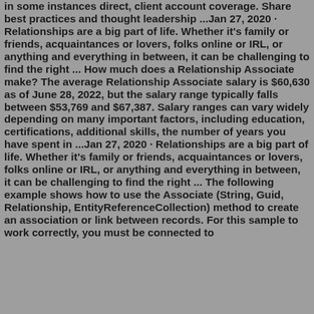in some instances direct, client account coverage. Share best practices and thought leadership ...Jan 27, 2020 · Relationships are a big part of life. Whether it's family or friends, acquaintances or lovers, folks online or IRL, or anything and everything in between, it can be challenging to find the right ... How much does a Relationship Associate make? The average Relationship Associate salary is $60,630 as of June 28, 2022, but the salary range typically falls between $53,769 and $67,387. Salary ranges can vary widely depending on many important factors, including education, certifications, additional skills, the number of years you have spent in ...Jan 27, 2020 · Relationships are a big part of life. Whether it's family or friends, acquaintances or lovers, folks online or IRL, or anything and everything in between, it can be challenging to find the right ... The following example shows how to use the Associate (String, Guid, Relationship, EntityReferenceCollection) method to create an association or link between records. For this sample to work correctly, you must be connected to